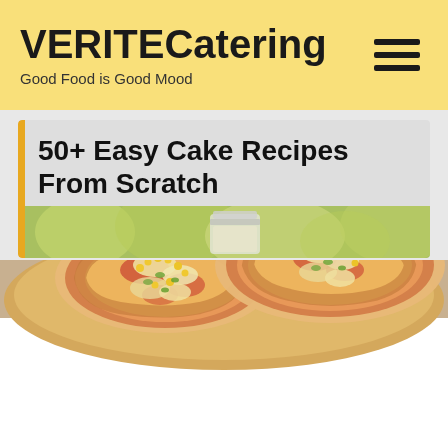[Figure (photo): Hero image of two small pizzas on a wooden cutting board, with melted cheese, corn, and vegetables as toppings, photographed from above in warm lighting]
VERITECatering
Good Food is Good Mood
50+ Easy Cake Recipes From Scratch
[Figure (photo): Partial image of a glass jar with a green bokeh background, part of article about cake recipes]